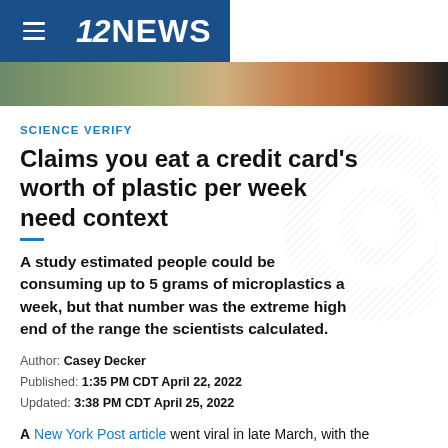12NEWS
[Figure (photo): Partial image strip showing a person handling something, with green, orange and dark tones]
SCIENCE VERIFY
Claims you eat a credit card's worth of plastic per week need context
A study estimated people could be consuming up to 5 grams of microplastics a week, but that number was the extreme high end of the range the scientists calculated.
Author: Casey Decker
Published: 1:35 PM CDT April 22, 2022
Updated: 3:38 PM CDT April 25, 2022
A New York Post article went viral in late March, with the